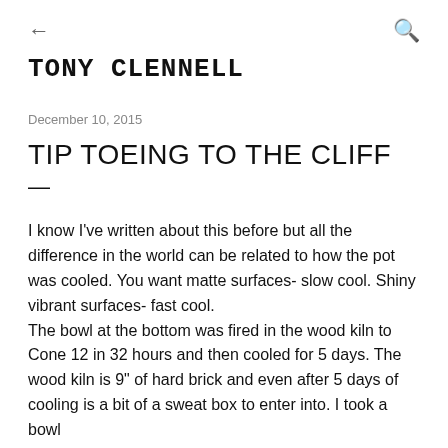← TONY CLENNELL 🔍
December 10, 2015
TIP TOEING TO THE CLIFF
—
I know I've written about this before but all the difference in the world can be related to how the pot was cooled. You want matte surfaces- slow cool. Shiny vibrant surfaces- fast cool. The bowl at the bottom was fired in the wood kiln to Cone 12 in 32 hours and then cooled for 5 days. The wood kiln is 9" of hard brick and even after 5 days of cooling is a bit of a sweat box to enter into. I took a bowl